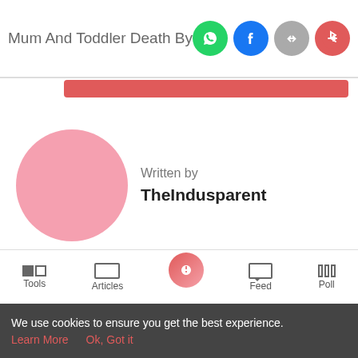Mum And Toddler Death By Snake Ve…
Written by
TheIndusparent
Home / News / Mum And Toddler Death By Snake Venom Bares Rare Breastfeeding Danger
[Figure (screenshot): Advertisement banner: 'Love this game Can't stop playing! Download Now' with Bubble Shooter Animal World game imagery]
Tools  Articles  Feed  Poll
We use cookies to ensure you get the best experience.
Learn More   Ok, Got it